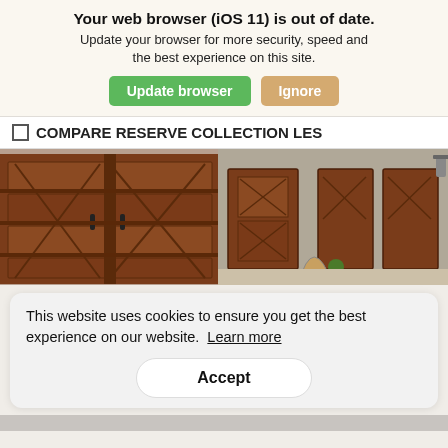Your web browser (iOS 11) is out of date. Update your browser for more security, speed and the best experience on this site.
[Figure (screenshot): Two buttons: green 'Update browser' and tan/gold 'Ignore']
COMPARE RESERVE COLLECTION LES
[Figure (photo): Composite photo of dark wood garage doors — close-up on left, house exterior with multiple matching garage doors on right]
This website uses cookies to ensure you get the best experience on our website.  Learn more
Accept